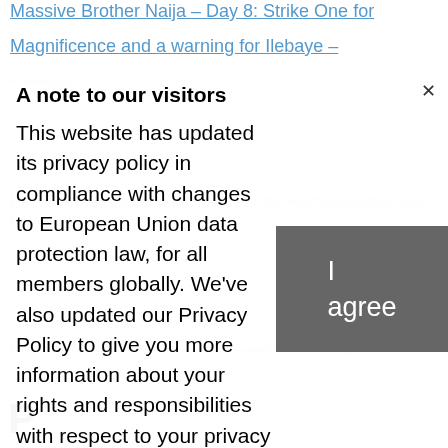Massive Brother Naija – Day 8: Strike One for Magnificence and a warning for Ilebaye – BBNaija
HAPPI: Important in giving of the Human Animal and Invocation Action
full information all the prices you wanted to know (and extra)
The Miss England finalist makes historical past as the primary contestant in a no-makeup magnificence pageant
Bellwether decision for same-sex marriage close to sky that it is proposed in New York potentially
A note to our visitors
This website has updated its privacy policy in compliance with changes to European Union data protection law, for all members globally. We've also updated our Privacy Policy to give you more information about your rights and responsibilities with respect to your privacy and personal information. Please read this to review the updates about which cookies we use and what information we collect on our site. By continuing to use this site, you are agreeing to our updated privacy policy.
I agree